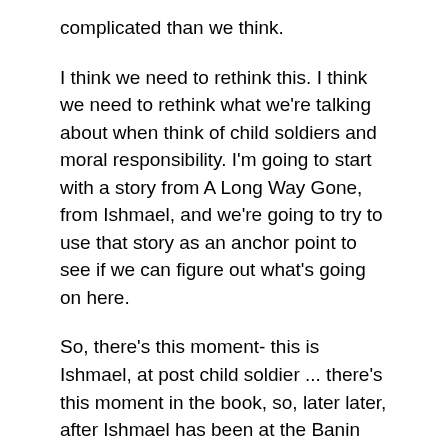complicated than we think.
I think we need to rethink this. I think we need to rethink what we're talking about when think of child soldiers and moral responsibility. I'm going to start with a story from A Long Way Gone, from Ishmael, and we're going to try to use that story as an anchor point to see if we can figure out what's going on here.
So, there's this moment- this is Ishmael, at post child soldier ... there's this moment in the book, so, later later, after Ishmael has been at the Banin Home for a while. He has stopped lashing out, he is off the drugs that he was on when he was in combat. He's starting to heal, both from his physical wounds and also from his psychological wounds. He tells this story to Esther, so Esther has been pestering him- Esther's his nurse ... she's pestering him, asking him